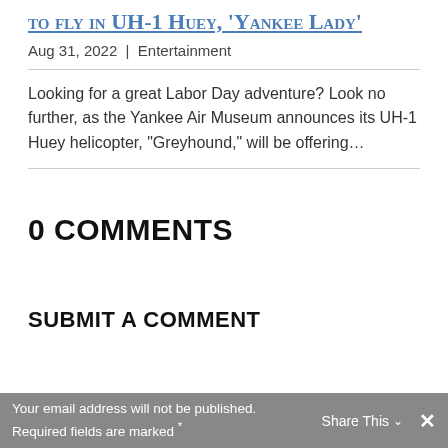to fly in UH-1 Huey, 'Yankee Lady'
Aug 31, 2022 | Entertainment
Looking for a great Labor Day adventure? Look no further, as the Yankee Air Museum announces its UH-1 Huey helicopter, "Greyhound," will be offering…
0 COMMENTS
SUBMIT A COMMENT
Your email address will not be published. Required fields are marked *